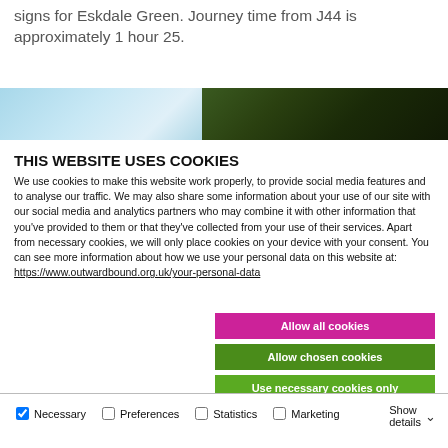signs for Eskdale Green. Journey time from J44 is approximately 1 hour 25.
[Figure (photo): Landscape banner photo showing blue sky on the left and dark tree foliage on the right]
THIS WEBSITE USES COOKIES
We use cookies to make this website work properly, to provide social media features and to analyse our traffic. We may also share some information about your use of our site with our social media and analytics partners who may combine it with other information that you've provided to them or that they've collected from your use of their services. Apart from necessary cookies, we will only place cookies on your device with your consent. You can see more information about how we use your personal data on this website at: https://www.outwardbound.org.uk/your-personal-data
Allow all cookies
Allow chosen cookies
Use necessary cookies only
Necessary   Preferences   Statistics   Marketing   Show details